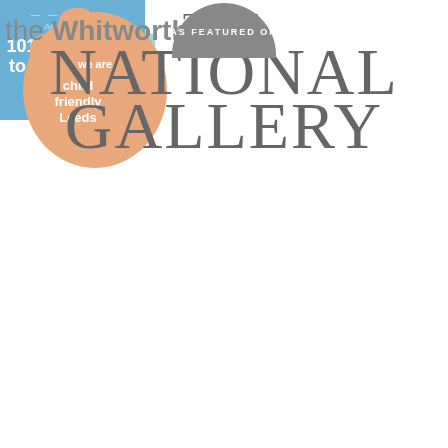[Figure (logo): Urban Explorer London for Kids badge - mint/teal colored badge with text EXPLORER, LONDON FOR KIDS, urban explorer]
[Figure (logo): Time Out As featured in 101 best things to do with kids 2015 - blue rectangle badge with white text]
[Figure (logo): We are child friendly Leeds - thumbs up logo in peach/orange with white text]
[Figure (logo): The Whitworth - text logo in gray sans-serif font]
[Figure (logo): The National Gallery - large serif text logo in dark gray]
[Figure (logo): AS FEATURED ON - partial gray circle badge at bottom]